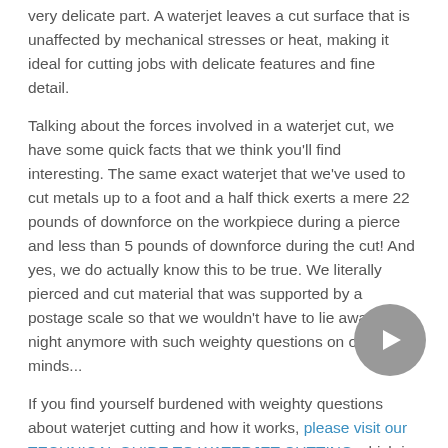very delicate part. A waterjet leaves a cut surface that is unaffected by mechanical stresses or heat, making it ideal for cutting jobs with delicate features and fine detail.
Talking about the forces involved in a waterjet cut, we have some quick facts that we think you'll find interesting. The same exact waterjet that we've used to cut metals up to a foot and a half thick exerts a mere 22 pounds of downforce on the workpiece during a pierce and less than 5 pounds of downforce during the cut! And yes, we do actually know this to be true. We literally pierced and cut material that was supported by a postage scale so that we wouldn't have to lie awake at night anymore with such weighty questions on our minds...
If you find yourself burdened with weighty questions about waterjet cutting and how it works, please visit our TECHNICAL GUIDE TO WATERJET CUTTING which is an absolute trove of delightful facts and valuable knowledge. We promise it will be well worth your time!